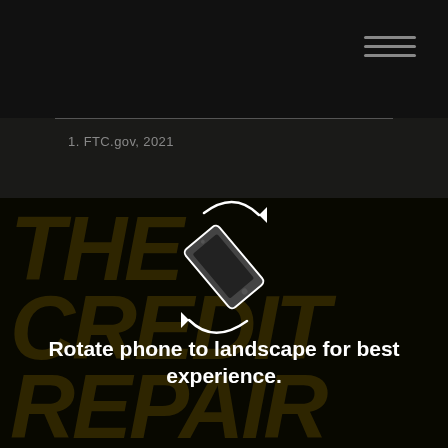[Figure (other): Dark navigation bar with hamburger menu icon (three horizontal lines) in top right corner]
1. FTC.gov, 2021
[Figure (illustration): Rotating phone icon with circular arrows indicating landscape rotation]
Rotate phone to landscape for best experience.
[Figure (other): Background text showing 'THE CREDIT REPAIR' in large dark gold italic bold letters]